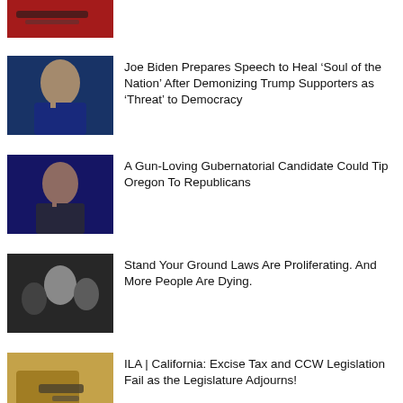[Figure (photo): Partial thumbnail at top, appears to be guns or red items]
Joe Biden Prepares Speech to Heal ‘Soul of the Nation’ After Demonizing Trump Supporters as ‘Threat’ to Democracy
A Gun-Loving Gubernatorial Candidate Could Tip Oregon To Republicans
Stand Your Ground Laws Are Proliferating. And More People Are Dying.
ILA | California: Excise Tax and CCW Legislation Fail as the Legislature Adjourns!
A Brief History of Guns, Politics and the NRA – Old Town Crier